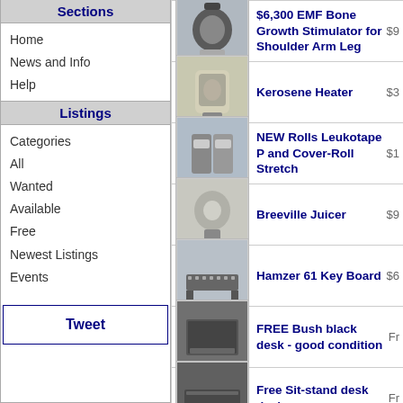Sections
Home
News and Info
Help
Listings
Categories
All
Wanted
Available
Free
Newest Listings
Events
Tweet
$6,300 EMF Bone Growth Stimulator for Shoulder Arm Leg  $9...
Kerosene Heater  $3...
NEW Rolls Leukotape P and Cover-Roll Stretch  $1...
Breeville Juicer  $9...
Hamzer 61 Key Board  $6...
FREE Bush black desk - good condition  Fr...
Free Sit-stand desk device  Fr...